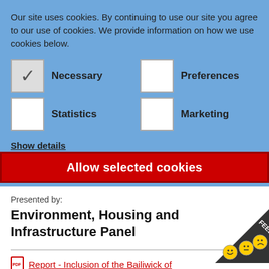Our site uses cookies. By continuing to use our site you agree to our use of cookies. We provide information on how we use cookies below.
Necessary
Preferences
Statistics
Marketing
Show details
Allow selected cookies
Presented by:
Environment, Housing and Infrastructure Panel
Report - Inclusion of the Bailiwick of